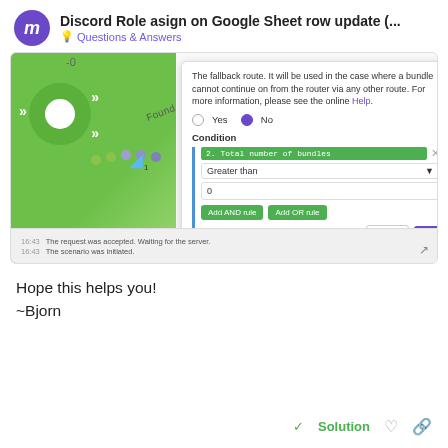Discord Role asign on Google Sheet row update (...
Questions & Answers
[Figure (screenshot): Screenshot of a Make (Integromat) scenario builder showing a Router node connected to a filter, with a dialog box open showing a condition filter set to '2. Total number of bundles' Greater than 0, with Add AND rule and Add OR rule buttons, and Cancel/OK buttons. Bottom log shows request accepted and scenario initiated messages.]
Hope this helps you!
~Bjorn
✓ Solution